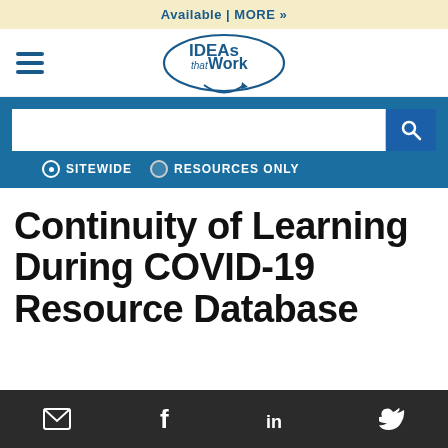Available | MORE »
[Figure (logo): IDEAs that Work logo — oval shape with arrow, dark blue text]
[Figure (screenshot): Search bar with magnifying glass icon, radio buttons for SITEWIDE and RESOURCES ONLY]
Continuity of Learning During COVID-19 Resource Database
Email, Facebook, LinkedIn, Twitter social media icons